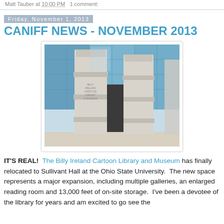Matt Tauber at 10:00 PM   1 comment:
Friday, November 1, 2013
CANIFF NEWS - NOVEMBER 2013
[Figure (photo): Exterior pillars of the Billy Ireland Cartoon Library and Museum at Sullivant Hall, Ohio State University. Stone columns with engraved text reading BILLY IRELAND CARTOON LIBRARY & MUSEUM, glass facade building in background.]
IT'S REAL!  The Billy Ireland Cartoon Library and Museum has finally relocated to Sullivant Hall at the Ohio State University.  The new space represents a major expansion, including multiple galleries, an enlarged reading room and 13,000 feet of on-site storage.  I've been a devotee of the library for years and am excited to go see the